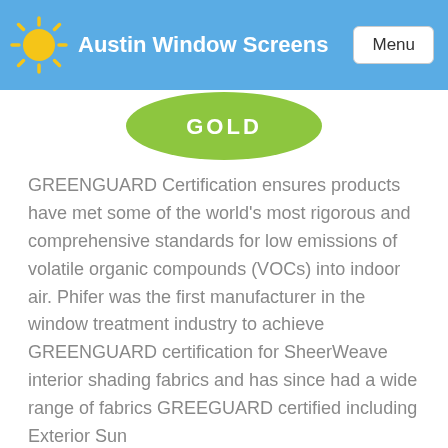Austin Window Screens
[Figure (logo): Green rounded badge with white text reading GOLD]
GREENGUARD Certification ensures products have met some of the world's most rigorous and comprehensive standards for low emissions of volatile organic compounds (VOCs) into indoor air. Phifer was the first manufacturer in the window treatment industry to achieve GREENGUARD certification for SheerWeave interior shading fabrics and has since had a wide range of fabrics GREEGUARD certified including Exterior Sun